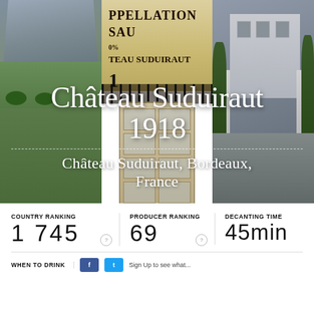[Figure (photo): Hero image collage of Château Suduiraut: aerial garden view (left), wine label showing 'APPELLATION SAU', 'CHATEAU SUDUIRAUT', iron gate and door (center), château entrance gates (right)]
Château Suduiraut 1918
Château Suduiraut, Bordeaux, France
COUNTRY RANKING
1 745
PRODUCER RANKING
69
DECANTING TIME
45min
WHEN TO DRINK